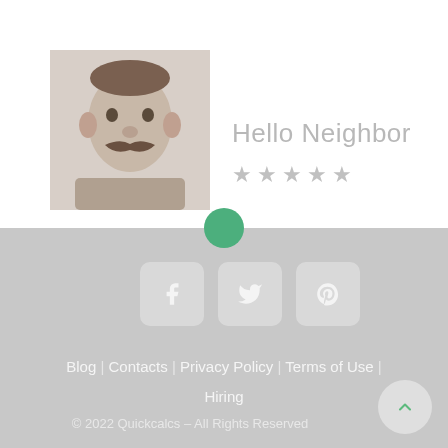[Figure (photo): Profile photo of a person with mustache, grayscale/faded]
Hello Neighbor
★★★★★ (star rating, 5 stars, light gray)
[Figure (infographic): Green circle dot above footer section, social media icon buttons (Facebook, Twitter, Pinterest) in rounded square containers on gray background]
Blog | Contacts | Privacy Policy | Terms of Use | Hiring
© 2022 Quickcalcs – All Rights Reserved